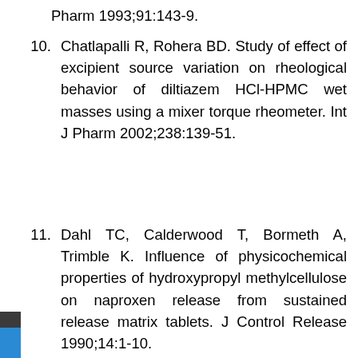Pharm 1993;91:143-9.
10. Chatlapalli R, Rohera BD. Study of effect of excipient source variation on rheological behavior of diltiazem HCl-HPMC wet masses using a mixer torque rheometer. Int J Pharm 2002;238:139-51.
11. Dahl TC, Calderwood T, Bormeth A, Trimble K. Influence of physicochemical properties of hydroxypropyl methylcellulose on naproxen release from sustained release matrix tablets. J Control Release 1990;14:1-10.
12. Santos JV, Batista de Carvalho LA, Pina ME. The influence of the compression force on zidovudine release from matrix tablets. AAPS PharmSciTech 2010;11:1442-8.